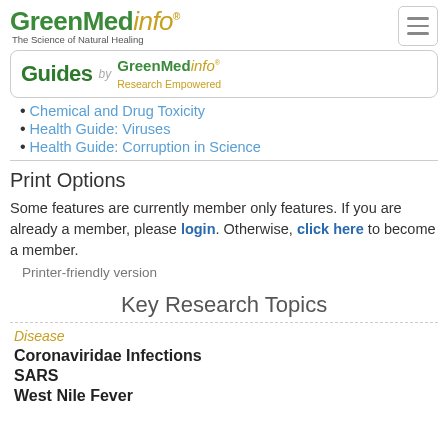GreenMedinfo® The Science of Natural Healing
[Figure (logo): GreenMedInfo Guides banner with 'by GreenMedInfo® Research Empowered' text]
Chemical and Drug Toxicity
Health Guide: Viruses
Health Guide: Corruption in Science
Print Options
Some features are currently member only features. If you are already a member, please login. Otherwise, click here to become a member.
Printer-friendly version
Key Research Topics
Disease
Coronaviridae Infections
SARS
West Nile Fever